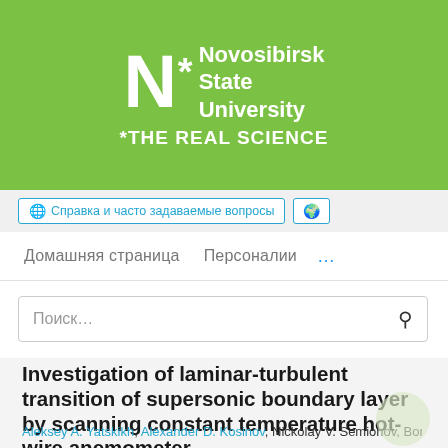[Figure (logo): Novosibirsk State University logo with green background, white N letter, asterisk, and text '*THE REAL SCIENCE']
Справка и часто задаваемые вопросы
Домашняя страница   Персоналии   ...
Поиск…
Investigation of laminar-turbulent transition of supersonic boundary layer by scanning constant temperature hot-wire anemometer
Aleksey A. Yatskikh, Alexander D. Kosinov, Nickolay V. Semionov, Boris V. Smorodsky, Yury G. Ermolaev, Gleb